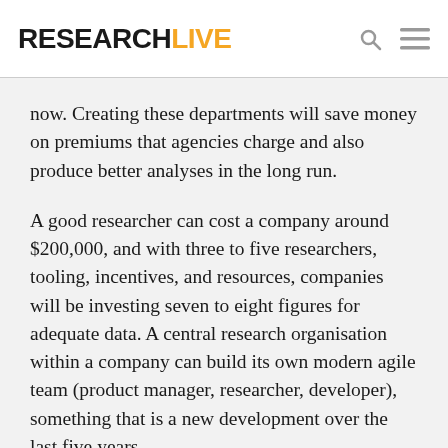RESEARCHLIVE
now. Creating these departments will save money on premiums that agencies charge and also produce better analyses in the long run.
A good researcher can cost a company around $200,000, and with three to five researchers, tooling, incentives, and resources, companies will be investing seven to eight figures for adequate data. A central research organisation within a company can build its own modern agile team (product manager, researcher, developer), something that is a new development over the last five years.